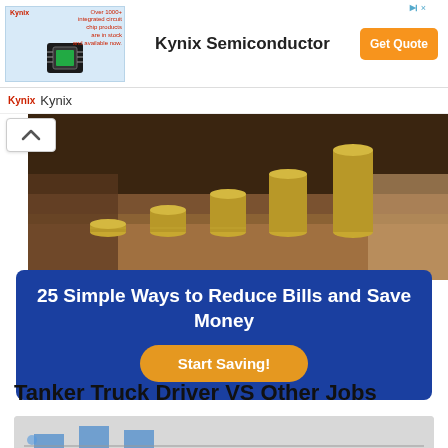[Figure (infographic): Kynix Semiconductor advertisement banner with chip image, 'Over 1000+ integrated circuit chip products are in stock and available now.' text, 'Kynix Semiconductor' heading, and 'Get Quote' orange button]
Kynix
[Figure (photo): Photo of stacked coins growing in size left to right on a wooden surface, with hands visible, representing financial savings]
25 Simple Ways to Reduce Bills and Save Money
Start Saving!
Tanker Truck Driver VS Other Jobs
[Figure (bar-chart): Partially visible bar chart comparing tanker truck driver salary vs other jobs]